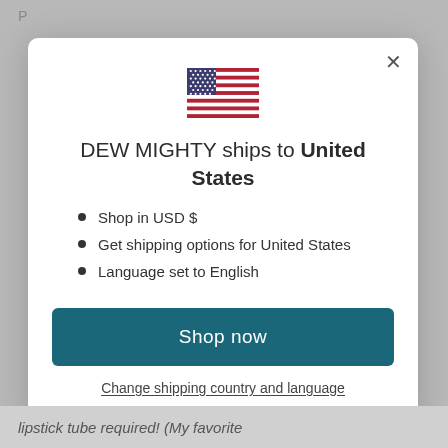[Figure (illustration): US flag SVG icon centered at top of modal]
DEW MIGHTY ships to United States
Shop in USD $
Get shipping options for United States
Language set to English
Shop now
Change shipping country and language